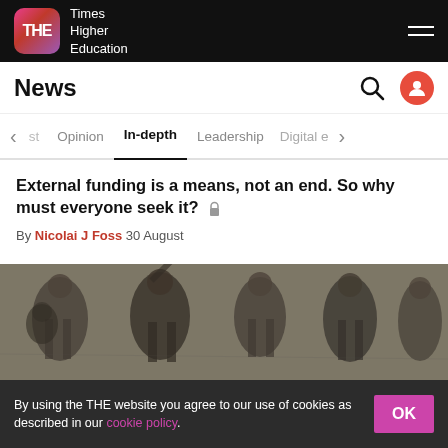THE Times Higher Education
News
In-depth (navigation tab, active)
External funding is a means, not an end. So why must everyone seek it?
By Nicolai J Foss  30 August
[Figure (photo): Black and white historical engraving/illustration showing Indian women in traditional dress, some carrying vessels on their heads, in a group scene]
Decolonisation demands a rethinking of what historical evidence is
By using the THE website you agree to our use of cookies as described in our cookie policy.